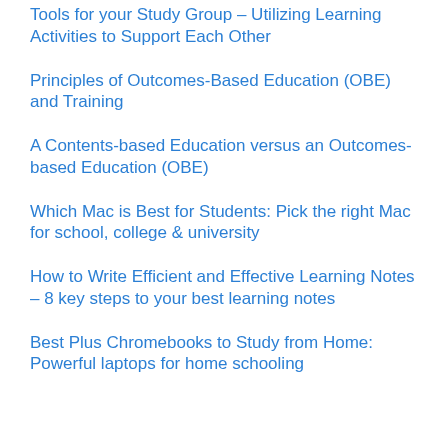Tools for your Study Group – Utilizing Learning Activities to Support Each Other
Principles of Outcomes-Based Education (OBE) and Training
A Contents-based Education versus an Outcomes-based Education (OBE)
Which Mac is Best for Students: Pick the right Mac for school, college & university
How to Write Efficient and Effective Learning Notes – 8 key steps to your best learning notes
Best Plus Chromebooks to Study from Home: Powerful laptops for home schooling